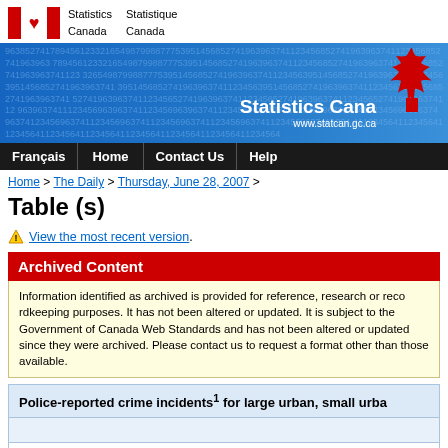Statistics Canada / Statistique Canada — www.statcan.gc.ca
Français | Home | Contact Us | Help
Home > The Daily > Thursday, June 28, 2007 >
Table (s)
⚠ View the most recent version.
Archived Content
Information identified as archived is provided for reference, research or recordkeeping purposes. It has not been altered or updated after the date of archiving. Web pages that are archived on the Web are not subject to the Government of Canada Web Standards and has not been altered or updated since they were archived. Please contact us to request a format other than those available.
| Police-reported crime incidents¹ for large urban, small urban... |
| --- |
|  |
| Total Criminal Code offenses |